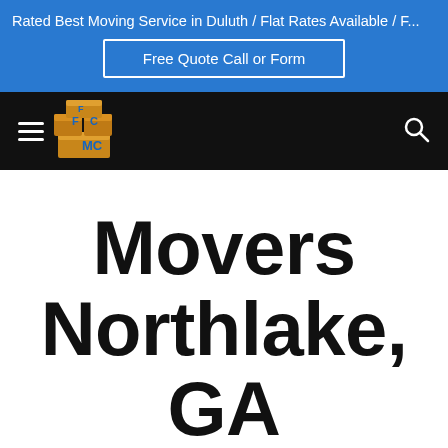Rated Best Moving Service in Duluth / Flat Rates Available / F...
Free Quote Call or Form
[Figure (logo): FMC moving company logo — stacked cardboard boxes with letters F, M, C in blue on orange/brown boxes]
Movers Northlake, GA